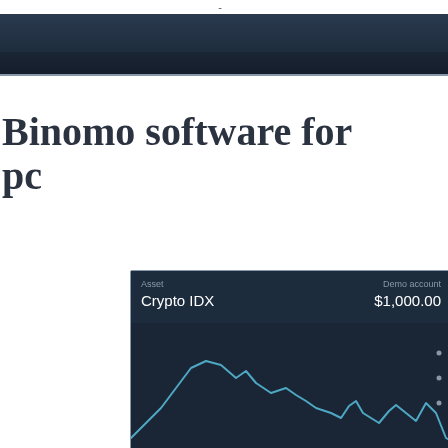-
Binomo software for pc
[Figure (screenshot): Binomo trading platform screenshot showing Crypto IDX asset with Demo account balance of $1,000.00 and a line chart of price movement]